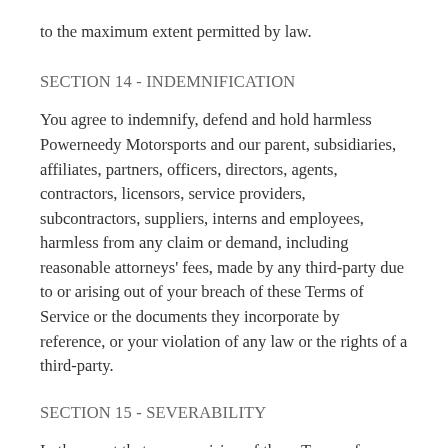to the maximum extent permitted by law.
SECTION 14 - INDEMNIFICATION
You agree to indemnify, defend and hold harmless Powerneedy Motorsports and our parent, subsidiaries, affiliates, partners, officers, directors, agents, contractors, licensors, service providers, subcontractors, suppliers, interns and employees, harmless from any claim or demand, including reasonable attorneys' fees, made by any third-party due to or arising out of your breach of these Terms of Service or the documents they incorporate by reference, or your violation of any law or the rights of a third-party.
SECTION 15 - SEVERABILITY
In the event that any provision of these Terms of Service is determined to be unlawful, void or...